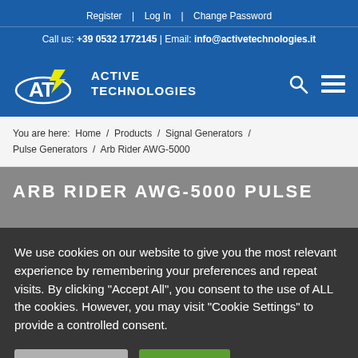Register | Log In | Change Password
Call us: +39 0532 1772145 | Email: info@activetechnologies.it
[Figure (logo): Active Technologies logo with AT emblem and text ACTIVE TECHNOLOGIES]
You are here: Home / Products / Signal Generators / Pulse Generators / Arb Rider AWG-5000
ARB RIDER AWG-5000 PULSE
We use cookies on our website to give you the most relevant experience by remembering your preferences and repeat visits. By clicking "Accept All", you consent to the use of ALL the cookies. However, you may visit "Cookie Settings" to provide a controlled consent.
Cookie Settings | Accept All